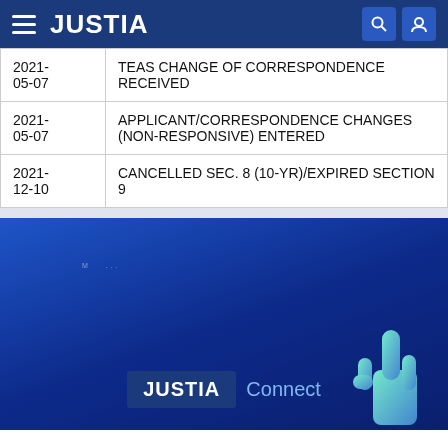JUSTIA
| Date | Event |
| --- | --- |
| 2021-05-07 | TEAS CHANGE OF CORRESPONDENCE RECEIVED |
| 2021-05-07 | APPLICANT/CORRESPONDENCE CHANGES (NON-RESPONSIVE) ENTERED |
| 2021-12-10 | CANCELLED SEC. 8 (10-YR)/EXPIRED SECTION 9 |
[Figure (logo): Justia Connect logo on dark blue background with a hand/finger illustration]